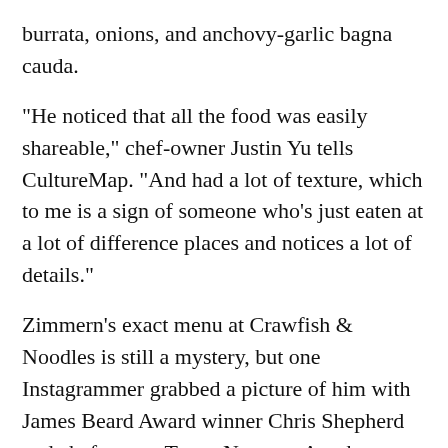burrata, onions, and anchovy-garlic bagna cauda.
"He noticed that all the food was easily shareable," chef-owner Justin Yu tells CultureMap. "And had a lot of texture, which to me is a sign of someone who's just eaten at a lot of difference places and notices a lot of details."
Zimmern's exact menu at Crawfish & Noodles is still a mystery, but one Instagrammer grabbed a picture of him with James Beard Award winner Chris Shepherd and chef-owner Trong Nguyen. Another Instagram user also spotted Shepherd and Zimmern at Gatlin's.
[Figure (photo): Photo of a woman with dark hair smiling, next to a dark sign reading 'Patricia Reed' in grey serif text.]